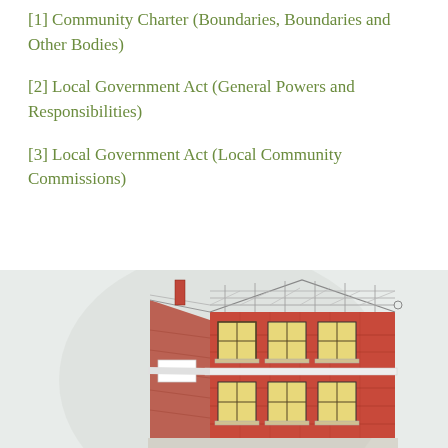[1] Community Charter (Boundaries, Boundaries and Other Bodies)
[2] Local Government Act (General Powers and Responsibilities)
[3] Local Government Act (Local Community Commissions)
[Figure (illustration): Architectural illustration of a two-storey red brick building with yellow-lit windows, decorative rooftop railing structure, and perspective showing both front and side facades. Set against a light grey circular background.]